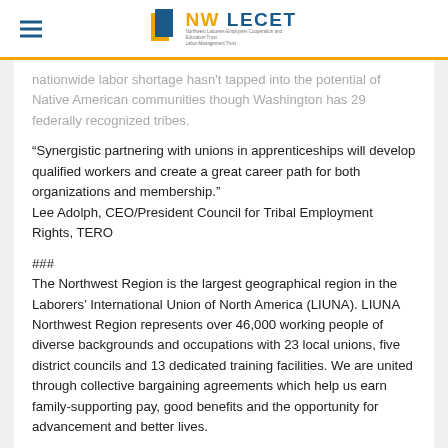NW LECET
nationwide labor shortage hasn't tapped into the potential of Native American communities though Washington has 29 federally recognized tribes.
“Synergistic partnering with unions in apprenticeships will develop qualified workers and create a great career path for both organizations and membership.”
Lee Adolph, CEO/President Council for Tribal Employment Rights, TERO
###
The Northwest Region is the largest geographical region in the Laborers’ International Union of North America (LIUNA). LIUNA Northwest Region represents over 46,000 working people of diverse backgrounds and occupations with 23 local unions, five district councils and 13 dedicated training facilities. We are united through collective bargaining agreements which help us earn family-supporting pay, good benefits and the opportunity for advancement and better lives.